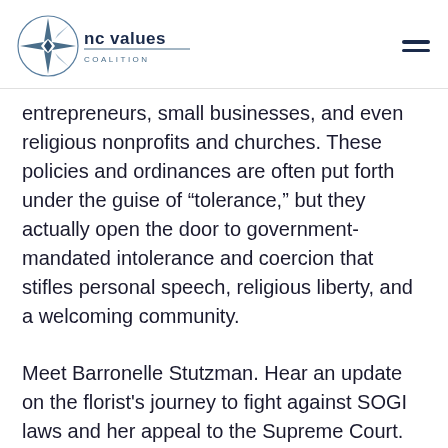NC Values Coalition logo and navigation
entrepreneurs, small businesses, and even religious nonprofits and churches. These policies and ordinances are often put forth under the guise of “tolerance,” but they actually open the door to government-mandated intolerance and coercion that stifles personal speech, religious liberty, and a welcoming community.
Meet Barronelle Stutzman. Hear an update on the florist’s journey to fight against SOGI laws and her appeal to the Supreme Court. Alliance Defending Freedom filed a brief at the Supreme Court stating that state and local governments throughout the